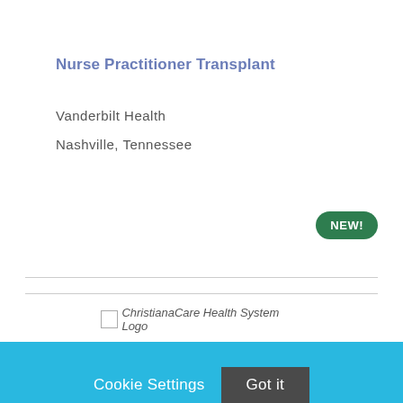Nurse Practitioner Transplant
Vanderbilt Health
Nashville, Tennessee
[Figure (logo): ChristianaCare Health System Logo placeholder image]
Cookie Settings   Got it
We use cookies so that we can remember you and understand how you use our site. If you do not agree with our use of cookies, please change the current settings found in our Cookie Policy. Otherwise, you agree to the use of the cookies as they are currently set.